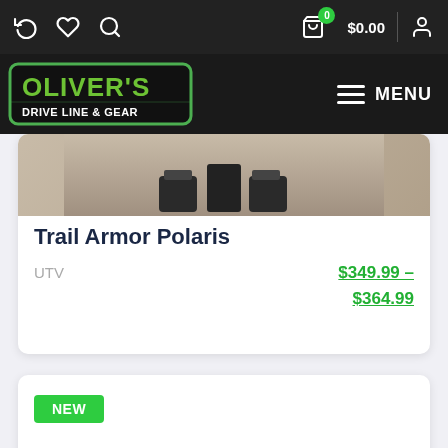Oliver's Drive Line & Gear — navigation header with cart $0.00 and MENU
[Figure (photo): Product image strip showing top portion of Trail Armor Polaris UTV product, beige/tan tones with dark brackets visible at bottom]
Trail Armor Polaris
UTV   $349.99 – $364.99
[Figure (photo): Dark metallic differential cover with SOLID branding embossed, octagonal shape with bolt holes around perimeter, labeled NEW]
NEW badge on second product